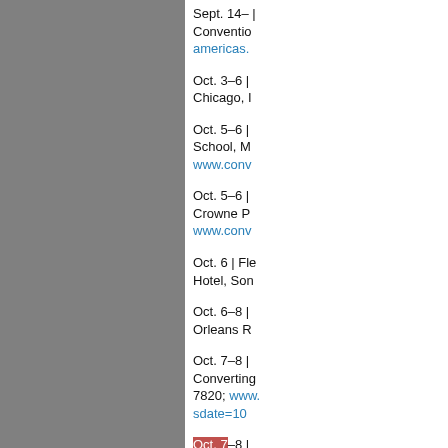[Figure (other): Gray panel on the left side of the page]
Sept. 14– | Convention | americas.
Oct. 3–6 | Chicago, I
Oct. 5–6 | School, M | www.conv
Oct. 5–6 | Crowne P | www.conv
Oct. 6 | Fle | Hotel, Son
Oct. 6–8 | Orleans R
Oct. 7–8 | Converting | 7820; www. | sdate=10
Oct. 7–8 | Converting | 7820; www.